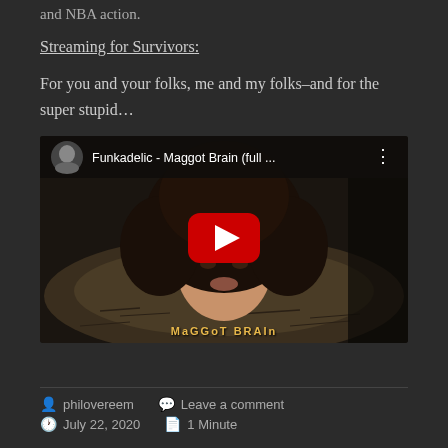and NBA action.
Streaming for Survivors:
For you and your folks, me and my folks–and for the super stupid…
[Figure (screenshot): YouTube video embed showing Funkadelic - Maggot Brain (full ...) with a red play button over an album cover image of a face emerging from the earth with an afro]
philovereem   Leave a comment
July 22, 2020   1 Minute